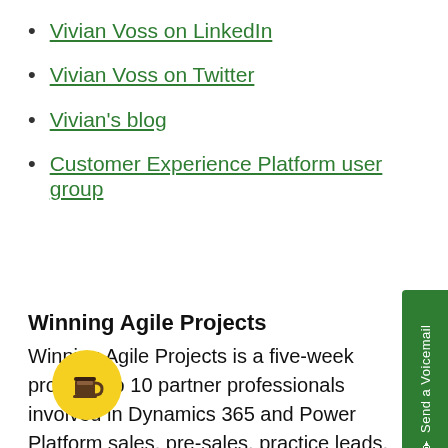Vivian Voss on LinkedIn
Vivian Voss on Twitter
Vivian's blog
Customer Experience Platform user group
Winning Agile Projects
Winning Agile Projects is a five-week program for 10 partner professionals involved in Dynamics 365 and Power Platform sales, pre-sales, practice leads, architects and analysts that will help them qualify agile opportunities, pitch the benefits of an agile approach, create compelling